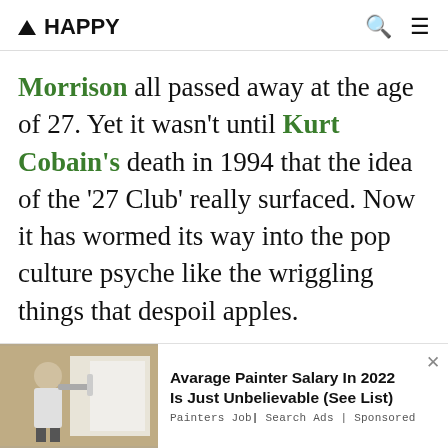▲ HAPPY
Morrison all passed away at the age of 27. Yet it wasn't until Kurt Cobain's death in 1994 that the idea of the '27 Club' really surfaced. Now it has wormed its way into the pop culture psyche like the wriggling things that despoil apples.
Avarage Painter Salary In 2022 Is Just Unbelievable (See List) Painters Job | Search Ads | Sponsored